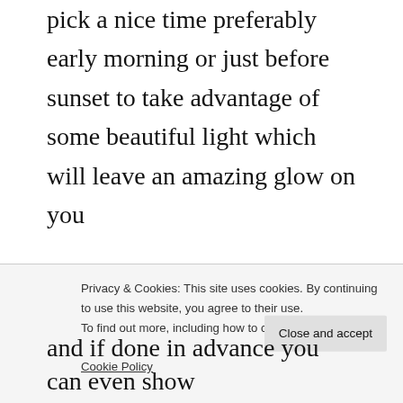pick a nice time preferably early morning or just before sunset to take advantage of some beautiful light which will leave an amazing glow on you
Second, do not plan it too close to or too far off from the wedding day. You don't want to feeling stressed or rushed for the shoot. You want to savour it and make it a part of your
Privacy & Cookies: This site uses cookies. By continuing to use this website, you agree to their use. To find out more, including how to control cookies, see here: Cookie Policy
and if done in advance you can even show